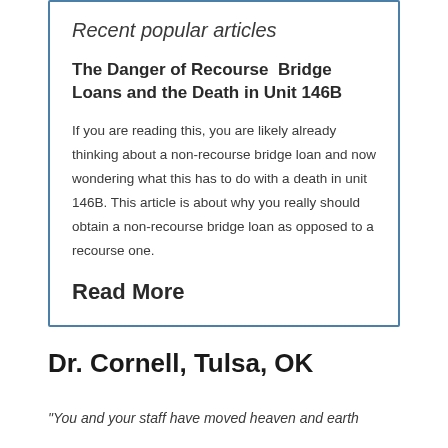Recent popular articles
The Danger of Recourse  Bridge Loans and the Death in Unit 146B
If you are reading this, you are likely already thinking about a non-recourse bridge loan and now wondering what this has to do with a death in unit 146B. This article is about why you really should obtain a non-recourse bridge loan as opposed to a recourse one.
Read More
Dr. Cornell, Tulsa, OK
"You and your staff have moved heaven and earth